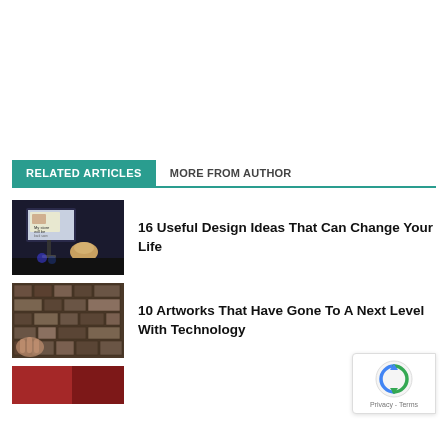RELATED ARTICLES
MORE FROM AUTHOR
[Figure (photo): Thumbnail image of a laptop screen showing ceramics/bear figurine in a car interior]
16 Useful Design Ideas That Can Change Your Life
[Figure (photo): Thumbnail image of bricks or stone blocks arranged in an art installation]
10 Artworks That Have Gone To A Next Level With Technology
[Figure (photo): Partial thumbnail of a third article, partially visible at bottom of page]